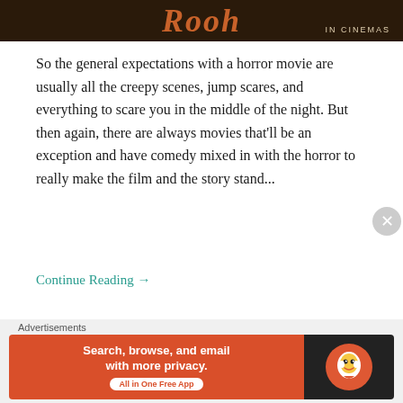[Figure (photo): Top banner showing a horror movie title 'Rooh' in stylized orange lettering on dark background, with 'IN CINEMAS' text at bottom right]
So the general expectations with a horror movie are usually all the creepy scenes, jump scares, and everything to scare you in the middle of the night. But then again, there are always movies that'll be an exception and have comedy mixed in with the horror to really make the film and the story stand...
Continue Reading →
May 15, 2021   0
Tuesdays and Friday
Advertisements
[Figure (screenshot): DuckDuckGo advertisement banner: orange left panel with text 'Search, browse, and email with more privacy. All in One Free App', right dark panel with DuckDuckGo duck logo]